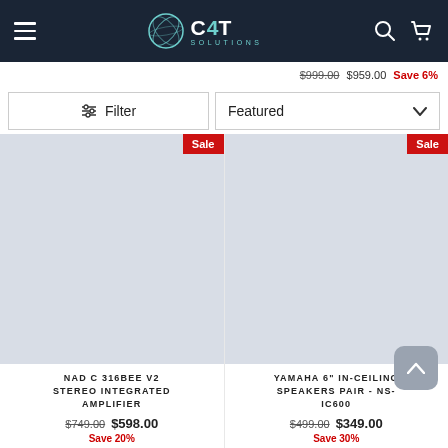C4T Solutions — navigation header with hamburger menu, logo, search and cart icons
$999.00  $959.00  Save 6%
Filter  |  Featured
[Figure (screenshot): Product listing page with two product cards: NAD C 316BEE V2 Stereo Integrated Amplifier (Sale: $598.00, was $749.00, Save 20%) and Yamaha 6" In-Ceiling Speakers Pair NS-IC600 (Sale: $349.00, was $499.00, Save 30%). Both have Sale badges.]
NAD C 316BEE V2 STEREO INTEGRATED AMPLIFIER
$749.00  $598.00
Save 20%
YAMAHA 6" IN-CEILING SPEAKERS PAIR - NS-IC600
$499.00  $349.00
Save 30%